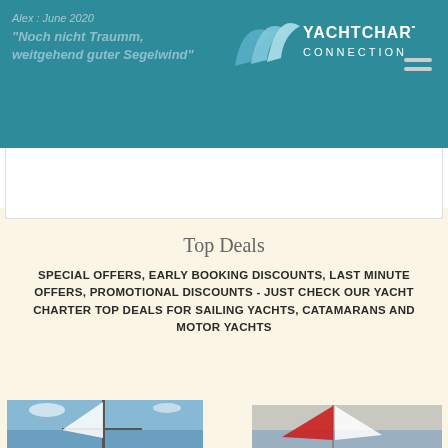Alex : June 2020
"Noch nicht Traumm, weitgehend guter Segelwind"
[Figure (logo): YachtCharter Connection logo with blue swoosh/sail graphic and white text]
Top Deals
SPECIAL OFFERS, EARLY BOOKING DISCOUNTS, LAST MINUTE OFFERS, PROMOTIONAL DISCOUNTS - JUST CHECK OUR YACHT CHARTER TOP DEALS FOR SAILING YACHTS, CATAMARANS AND MOTOR YACHTS
[Figure (photo): Photo of sailing yacht mast against blue sky]
[Figure (photo): Photo of sailing yacht with red and white sail]